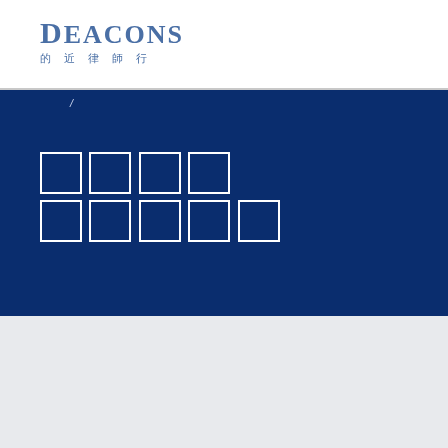DEACONS 的近律師行
/
（Chinese characters rendered as boxes）
[Figure (screenshot): White search/input box with light border on grey background]
（Cookie notice in Chinese with the word cookies appearing multiple times）cookies cookies
[Figure (other): Accept/acknowledge button in dark gold with two white squares icon]